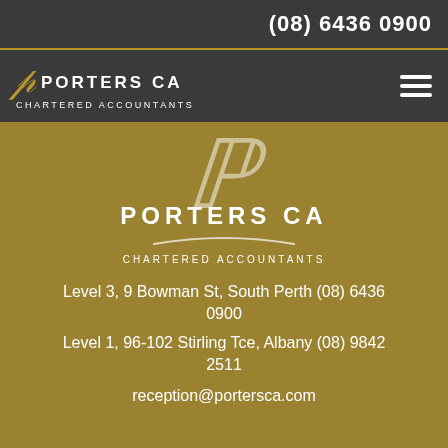(08) 6436 0900
[Figure (logo): Porters CA Chartered Accountants logo with stylized P script in gold and white text on dark background, with hamburger menu icon]
[Figure (logo): Large Porters CA Chartered Accountants logo centered on gold/olive background with large italic script P in white]
Level 3, 9 Bowman St, South Perth (08) 6436 0900
Level 1, 96-102 Stirling Tce, Albany (08) 9842 2511
reception@portersca.com